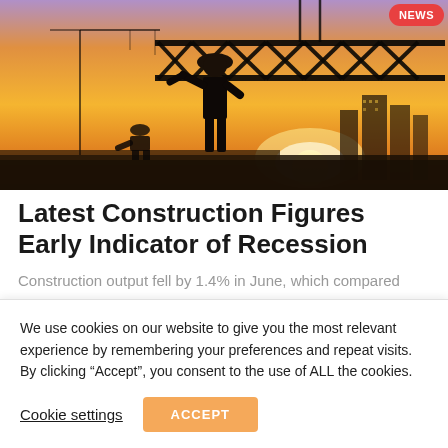[Figure (photo): Construction site photo at sunset/dusk showing silhouette of worker in hard hat, crane lifting a steel truss beam, city skyline in background, warm orange-yellow tones with purple sky. NEWS badge in top right corner.]
Latest Construction Figures Early Indicator of Recession
Construction output fell by 1.4% in June, which compared
We use cookies on our website to give you the most relevant experience by remembering your preferences and repeat visits. By clicking “Accept”, you consent to the use of ALL the cookies.
Cookie settings  ACCEPT